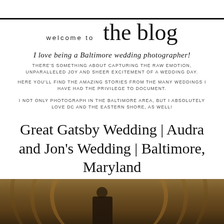welcome to the blog
I love being a Baltimore wedding photographer!
THERE'S SOMETHING ABOUT CAPTURING THE RAW EMOTION, UNPARALLELED JOY AND SHEER EXCITEMENT OF A WEDDING DAY.
HERE YOU'LL FIND THE AMAZING STORIES FROM THE MANY WEDDINGS I HAVE HAD THE PRIVILEGE TO DOCUMENT.
I NOT ONLY PHOTOGRAPH IN THE BALTIMORE AREA, BUT I ABSOLUTELY LOVE DC AND THE EASTERN SHORE, AS WELL!
Great Gatsby Wedding | Audra and Jon's Wedding | Baltimore, Maryland
[Figure (photo): A warm-toned photograph of a curved staircase or archway interior with golden-brown architectural details and a person standing below.]